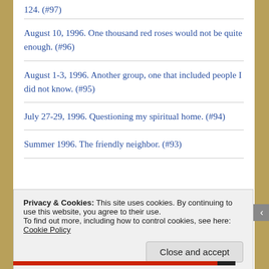124. (#97)
August 10, 1996. One thousand red roses would not be quite enough. (#96)
August 1-3, 1996. Another group, one that included people I did not know. (#95)
July 27-29, 1996. Questioning my spiritual home. (#94)
Summer 1996. The friendly neighbor. (#93)
Privacy & Cookies: This site uses cookies. By continuing to use this website, you agree to their use.
To find out more, including how to control cookies, see here: Cookie Policy
Close and accept